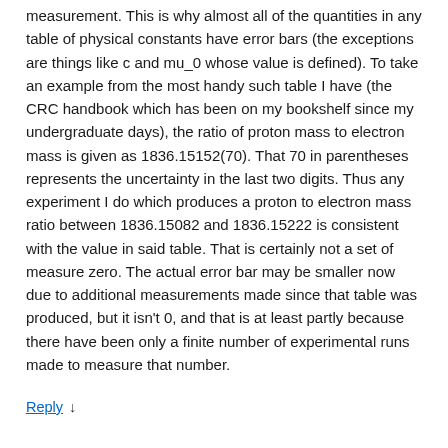measurement. This is why almost all of the quantities in any table of physical constants have error bars (the exceptions are things like c and mu_0 whose value is defined). To take an example from the most handy such table I have (the CRC handbook which has been on my bookshelf since my undergraduate days), the ratio of proton mass to electron mass is given as 1836.15152(70). That 70 in parentheses represents the uncertainty in the last two digits. Thus any experiment I do which produces a proton to electron mass ratio between 1836.15082 and 1836.15222 is consistent with the value in said table. That is certainly not a set of measure zero. The actual error bar may be smaller now due to additional measurements made since that table was produced, but it isn't 0, and that is at least partly because there have been only a finite number of experimental runs made to measure that number.
Reply ↓